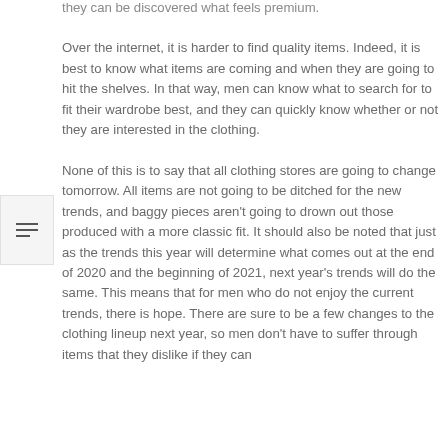they can be discovered what feels premium.
Over the internet, it is harder to find quality items. Indeed, it is best to know what items are coming and when they are going to hit the shelves. In that way, men can know what to search for to fit their wardrobe best, and they can quickly know whether or not they are interested in the clothing.
None of this is to say that all clothing stores are going to change tomorrow. All items are not going to be ditched for the new trends, and baggy pieces aren't going to drown out those produced with a more classic fit. It should also be noted that just as the trends this year will determine what comes out at the end of 2020 and the beginning of 2021, next year's trends will do the same. This means that for men who do not enjoy the current trends, there is hope. There are sure to be a few changes to the clothing lineup next year, so men don't have to suffer through items that they dislike if they can